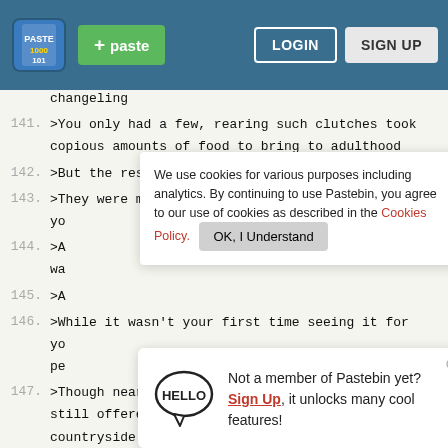Pastebin header with logo, paste button, LOGIN and SIGN UP buttons
changeling
141. >You only had a few, rearing such clutches took copious amounts of food to bring to adulthood
142. >But the result was always spectacular
143. >They were massive, easily four times larger than yo
144. >A wa
145. >A
146. >While it wasn't your first time seeing it for yo pe
147. >Though near the bottom of the city, the mines still offered a view of the surrounding countryside
148. "You ponies spread like a disease and marr this land with your structures. How can you live with
We use cookies for various purposes including analytics. By continuing to use Pastebin, you agree to our use of cookies as described in the Cookies Policy. OK, I Understand
Not a member of Pastebin yet? Sign Up, it unlocks many cool features!